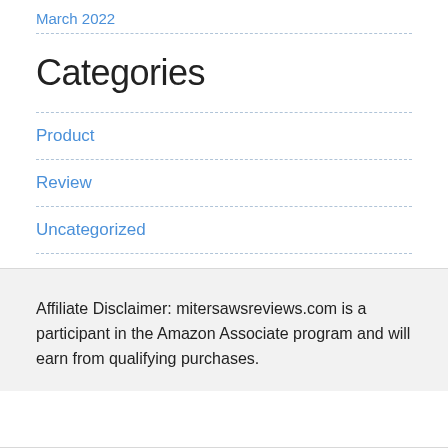March 2022
Categories
Product
Review
Uncategorized
Affiliate Disclaimer: mitersawsreviews.com is a participant in the Amazon Associate program and will earn from qualifying purchases.